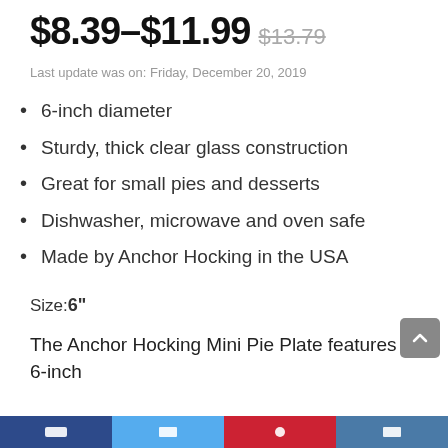$8.39–$11.99 $13.79
Last update was on: Friday, December 20, 2019
6-inch diameter
Sturdy, thick clear glass construction
Great for small pies and desserts
Dishwasher, microwave and oven safe
Made by Anchor Hocking in the USA
Size: 6"
The Anchor Hocking Mini Pie Plate features a 6-inch